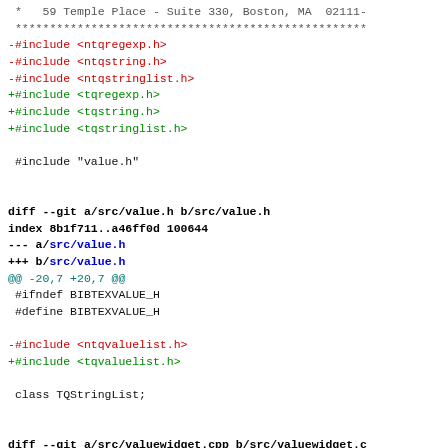*   59 Temple Place - Suite 330, Boston, MA  02111-
 ****************************************************
-#include <ntqregexp.h>
-#include <ntqstring.h>
-#include <ntqstringlist.h>
+#include <tqregexp.h>
+#include <tqstring.h>
+#include <tqstringlist.h>

 #include "value.h"


diff --git a/src/value.h b/src/value.h
index 8b1f711..a46ff0d 100644
--- a/src/value.h
+++ b/src/value.h
@@ -20,7 +20,7 @@
 #ifndef BIBTEXVALUE_H
 #define BIBTEXVALUE_H

-#include <ntqvaluelist.h>
+#include <tqvaluelist.h>

 class TQStringList;


diff --git a/src/valuewidget.cpp b/src/valuewidget.c
index 9e56488..d997cdf 100644
--- a/src/valuewidget.cpp
+++ b/src/valuewidget.cpp